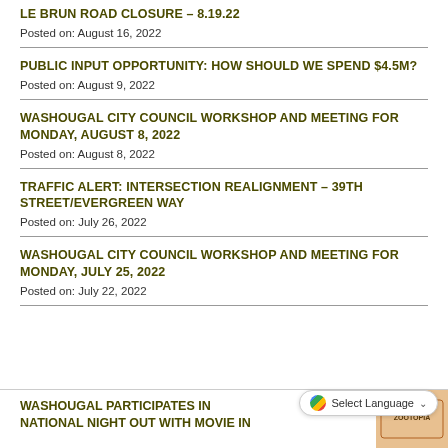LE BRUN ROAD CLOSURE – 8.19.22
Posted on: August 16, 2022
PUBLIC INPUT OPPORTUNITY: HOW SHOULD WE SPEND $4.5M?
Posted on: August 9, 2022
WASHOUGAL CITY COUNCIL WORKSHOP AND MEETING FOR MONDAY, AUGUST 8, 2022
Posted on: August 8, 2022
TRAFFIC ALERT: INTERSECTION REALIGNMENT – 39TH STREET/EVERGREEN WAY
Posted on: July 26, 2022
WASHOUGAL CITY COUNCIL WORKSHOP AND MEETING FOR MONDAY, JULY 25, 2022
Posted on: July 22, 2022
WASHOUGAL PARTICIPATES IN NATIONAL NIGHT OUT WITH MOVIE IN
[Figure (photo): Zootopia movie poster thumbnail]